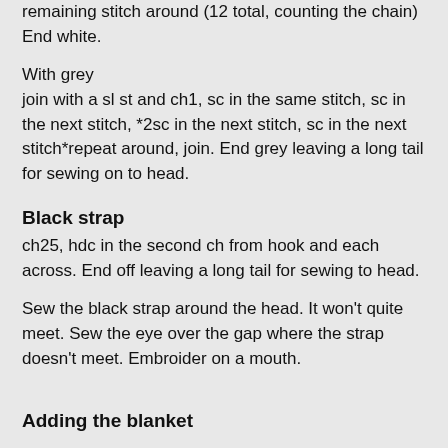remaining stitch around (12 total, counting the chain) End white.
With grey
join with a sl st and ch1, sc in the same stitch, sc in the next stitch, *2sc in the next stitch, sc in the next stitch*repeat around, join. End grey leaving a long tail for sewing on to head.
Black strap
ch25, hdc in the second ch from hook and each across. End off leaving a long tail for sewing to head.
Sew the black strap around the head. It won't quite meet. Sew the eye over the gap where the strap doesn't meet. Embroider on a mouth.
Adding the blanket
For anyone unfamiliar with the granny square: Each 3dc cluster from R3 on is completed in the ch1 space from the previous round, and corners are in the ch2 spaces from the